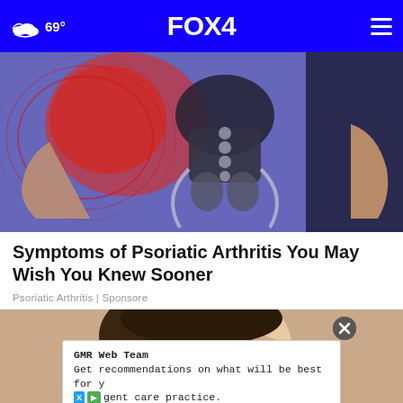69° FOX 4
[Figure (photo): Medical illustration of hip/pelvis anatomy with red pain indicators overlaid on a person wearing blue leggings]
Symptoms of Psoriatic Arthritis You May Wish You Knew Sooner
Psoriatic Arthritis | Sponsore
[Figure (photo): Close-up photo of a person's face partially visible, with an advertisement overlay from GMR Web Team]
GMR Web Team
Get recommendations on what will be best for y
gent care practice.